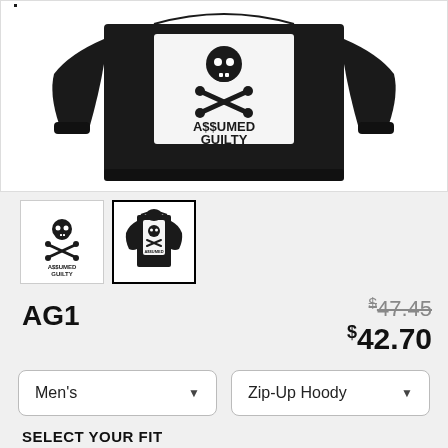[Figure (photo): Black zip-up hoodie displayed from the back, showing a large white printed patch with skull and crossbones and text 'A$$UMED GUILTY']
[Figure (photo): Thumbnail 1: A$$UMED GUILTY logo with skull and crossbones, text below]
[Figure (photo): Thumbnail 2: Back of black zip-up hoodie with A$$UMED GUILTY design, selected/active thumbnail]
AG1
$47.45 (strikethrough original price)
$42.70 (sale price)
Men's (dropdown)
Zip-Up Hoody (dropdown)
SELECT YOUR FIT